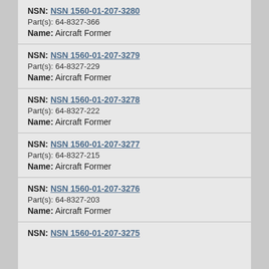NSN: NSN 1560-01-207-3280
Part(s): 64-8327-366
Name: Aircraft Former
NSN: NSN 1560-01-207-3279
Part(s): 64-8327-229
Name: Aircraft Former
NSN: NSN 1560-01-207-3278
Part(s): 64-8327-222
Name: Aircraft Former
NSN: NSN 1560-01-207-3277
Part(s): 64-8327-215
Name: Aircraft Former
NSN: NSN 1560-01-207-3276
Part(s): 64-8327-203
Name: Aircraft Former
NSN: NSN 1560-01-207-3275